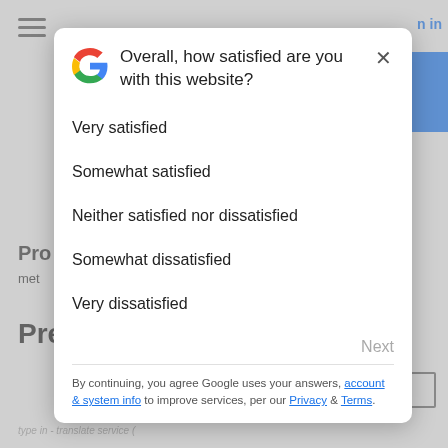[Figure (screenshot): Background webpage with hamburger menu icon, 'n in' sign-in link, blue button, and partial text 'Pro', 'met', 'Pre']
Overall, how satisfied are you with this website?
Very satisfied
Somewhat satisfied
Neither satisfied nor dissatisfied
Somewhat dissatisfied
Very dissatisfied
Next
By continuing, you agree Google uses your answers, account & system info to improve services, per our Privacy & Terms.